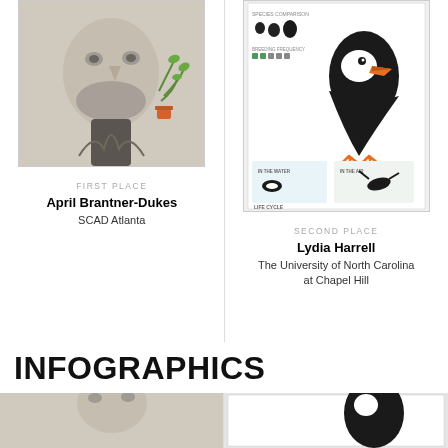[Figure (illustration): Illustration artwork by April Brantner-Dukes showing an abstract face with plants and bird-like elements, muted tones]
[Figure (infographic): Infographic about puffins showing species comparison, breeding frequency, life cycle stages with egg, chick, juvenile, adult puffin illustrations]
FIRST PLACE
April Brantner-Dukes
SCAD Atlanta
SECOND PLACE
Lydia Harrell
The University of North Carolina at Chapel Hill
INFOGRAPHICS
[Figure (illustration): Partial thumbnail of first place infographics entry]
[Figure (infographic): Partial thumbnail of second place infographics entry]